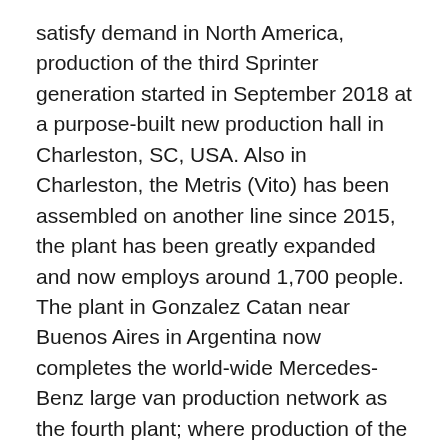satisfy demand in North America, production of the third Sprinter generation started in September 2018 at a purpose-built new production hall in Charleston, SC, USA. Also in Charleston, the Metris (Vito) has been assembled on another line since 2015, the plant has been greatly expanded and now employs around 1,700 people. The plant in Gonzalez Catan near Buenos Aires in Argentina now completes the world-wide Mercedes-Benz large van production network as the fourth plant; where production of the newest Sprinter started in September 2019.
Due to worldwide restrictions because of the COVID-19 pandemic, the Mercedes-Benz Van plants had stopped production from the second half of March 2020. At the end of April, production started up again step by step, and shortly afterwards normal operation was resumed.